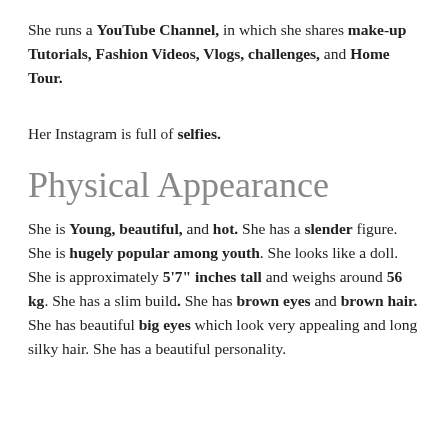She runs a YouTube Channel, in which she shares make-up Tutorials, Fashion Videos, Vlogs, challenges, and Home Tour.
Her Instagram is full of selfies.
Physical Appearance
She is Young, beautiful, and hot. She has a slender figure. She is hugely popular among youth. She looks like a doll. She is approximately 5'7" inches tall and weighs around 56 kg. She has a slim build. She has brown eyes and brown hair. She has beautiful big eyes which look very appealing and long silky hair. She has a beautiful personality.